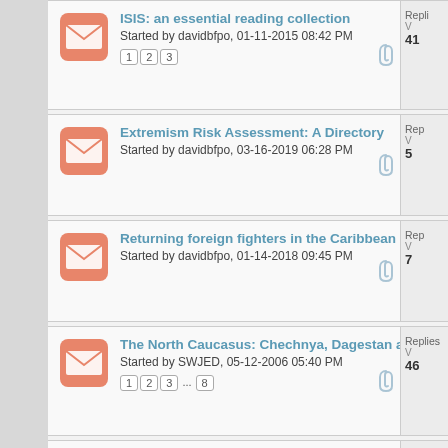ISIS: an essential reading collection
Started by davidbfpo, 01-11-2015 08:42 PM
Pages: 1 2 3
Replies: V 41
Extremism Risk Assessment: A Directory
Started by davidbfpo, 03-16-2019 06:28 PM
Replies: V 5
Returning foreign fighters in the Caribbean
Started by davidbfpo, 01-14-2018 09:45 PM
Replies: V 7
The North Caucasus: Chechnya, Dagestan and
Started by SWJED, 05-12-2006 05:40 PM
Pages: 1 2 3 ... 8
Replies: V 46
Donald Trump's Shadow War
Started by davidbfpo, 05-11-2018 04:35 PM
Replies: V 5